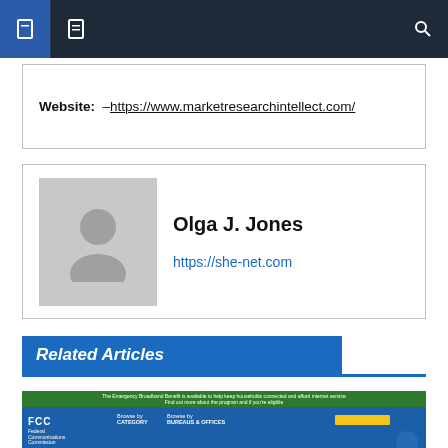Navigation bar
Website: –https://www.marketresearchintellect.com/
Olga J. Jones
https://she-net.com
Related Articles
[Figure (screenshot): Screenshot of the FCC website showing the agency homepage with green banner, blue navigation bar, FCC logo, category menus, and 'About the FCC' heading]